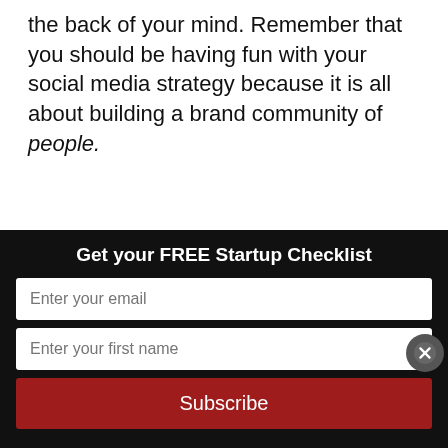the back of your mind. Remember that you should be having fun with your social media strategy because it is all about building a brand community of people.
Candace Huntly is Founding Partner at SongBird Marketing Communications, an award-winning agency working to take organizational and individual brands to the
Get your FREE Startup Checklist
Enter your email
Enter your first name
Subscribe